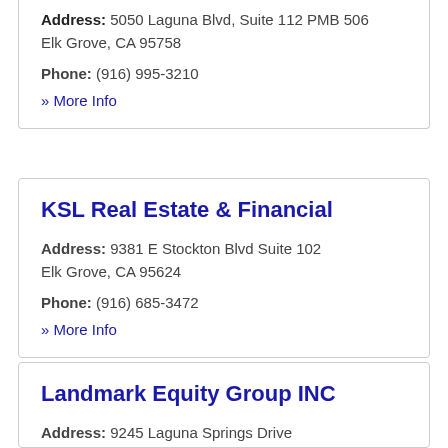Address: 5050 Laguna Blvd, Suite 112 PMB 506
Elk Grove, CA 95758
Phone: (916) 995-3210
» More Info
KSL Real Estate & Financial
Address: 9381 E Stockton Blvd Suite 102
Elk Grove, CA 95624
Phone: (916) 685-3472
» More Info
Landmark Equity Group INC
Address: 9245 Laguna Springs Drive